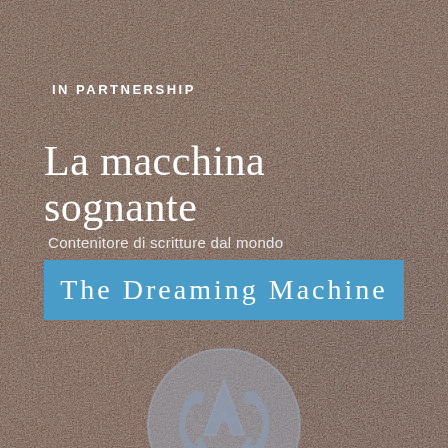IN PARTNERSHIP
La macchina sognante
Contenitore di scritture dal mondo
The Dreaming Machine
[Figure (logo): Circular logo with stylized letter forms in grey/blue, partially visible at bottom of page]